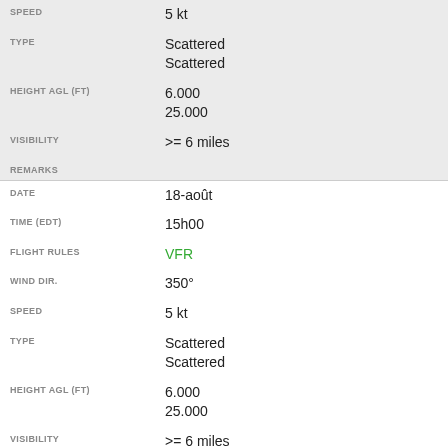| Field | Value |
| --- | --- |
| SPEED | 5 kt |
| TYPE | Scattered
Scattered |
| HEIGHT AGL (FT) | 6.000
25.000 |
| VISIBILITY | >= 6 miles |
| REMARKS |  |
| DATE | 18-août |
| TIME (EDT) | 15h00 |
| FLIGHT RULES | VFR |
| WIND DIR. | 350° |
| SPEED | 5 kt |
| TYPE | Scattered
Scattered |
| HEIGHT AGL (FT) | 6.000
25.000 |
| VISIBILITY | >= 6 miles |
| REMARKS |  |
| DATE | 18-août |
| TIME (EDT) | 14h00 |
| FLIGHT RULES | VFR |
| WIND DIR. | 350° |
| SPEED | 5 kt |